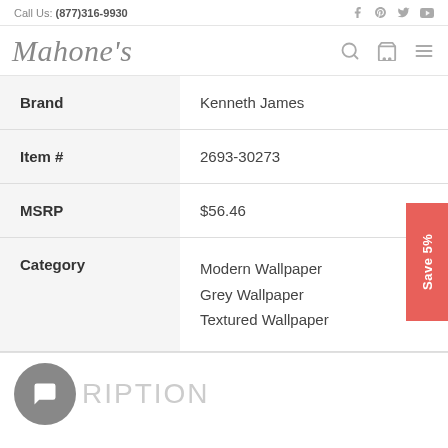Call Us: (877)316-9930
[Figure (logo): Mahone's script logo with search, cart, and menu icons]
| Brand | Kenneth James |
| Item # | 2693-30273 |
| MSRP | $56.46 |
| Category | Modern Wallpaper
Grey Wallpaper
Textured Wallpaper |
DESCRIPTION